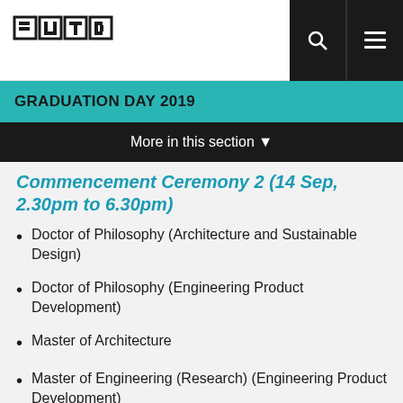SUTS logo, search icon, menu icon
GRADUATION DAY 2019
More in this section ▾
Commencement Ceremony 2 (14 Sep, 2.30pm to 6.30pm)
Doctor of Philosophy (Architecture and Sustainable Design)
Doctor of Philosophy (Engineering Product Development)
Master of Architecture
Master of Engineering (Research) (Engineering Product Development)